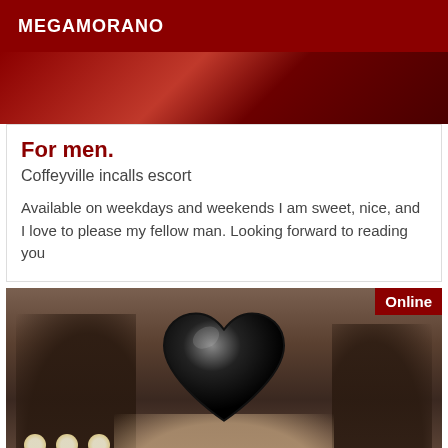MEGAMORANO
[Figure (photo): Top portion of a photo showing red/dark fabric background, partially cropped]
For men.
Coffeyville incalls escort
Available on weekdays and weekends I am sweet, nice, and I love to please my fellow man. Looking forward to reading you
[Figure (photo): Photo of a woman with dark wavy hair and hoop earrings, face obscured by a black heart emoji. An 'Online' badge appears in the top-right corner. Background shows vanity lights on the left side.]